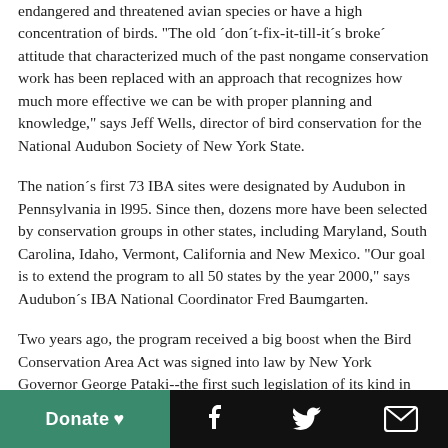endangered and threatened avian species or have a high concentration of birds. "The old ´don´t-fix-it-till-it´s broke´ attitude that characterized much of the past nongame conservation work has been replaced with an approach that recognizes how much more effective we can be with proper planning and knowledge," says Jeff Wells, director of bird conservation for the National Audubon Society of New York State.
The nation´s first 73 IBA sites were designated by Audubon in Pennsylvania in l995. Since then, dozens more have been selected by conservation groups in other states, including Maryland, South Carolina, Idaho, Vermont, California and New Mexico. "Our goal is to extend the program to all 50 states by the year 2000," says Audubon´s IBA National Coordinator Fred Baumgarten.
Two years ago, the program received a big boost when the Bird Conservation Area Act was signed into law by New York Governor George Pataki--the first such legislation of its kind in the nation. Under the measure, which is modeled after the IBA...
Donate ♥  [Facebook]  [Twitter]  [Email]